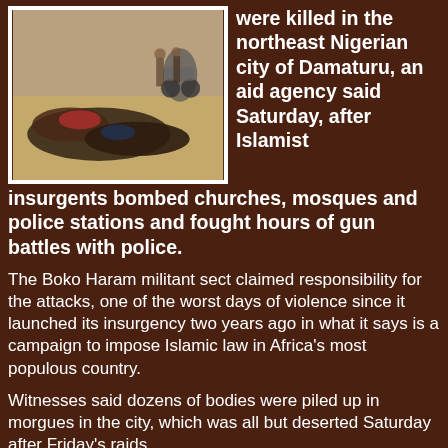[Figure (photo): Photo of multiple bodies lying on the ground outdoors, with a motorcycle visible in the background.]
were killed in the northeast Nigerian city of Damaturu, an aid agency said Saturday, after Islamist insurgents bombed churches, mosques and police stations and fought hours of gun battles with police.
The Boko Haram militant sect claimed responsibility for the attacks, one of the worst days of violence since it launched its insurgency two years ago in what it says is a campaign to impose Islamic law in Africa's most populous country.
Witnesses said dozens of bodies were piled up in morgues in the city, which was all but deserted Saturday after Friday's raids.
"This place was like a war zone last night. There is no single policeman on the street now. The attacks destroyed mosques and churches, I have seen many injured persons in the hospital," said local Damaturu artisan Renard